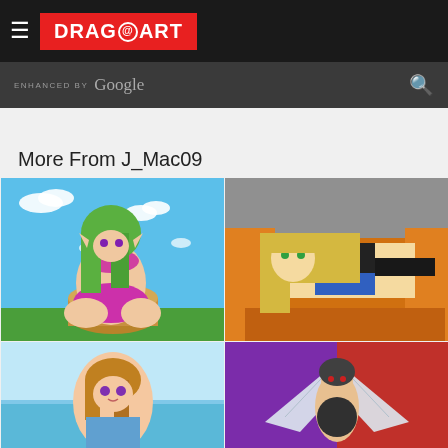DRAGOART
ENHANCED BY Google
More From J_Mac09
[Figure (illustration): Anime elf girl with green hair in pink/magenta bikini sitting on a tree stump with blue sky and clouds background]
[Figure (illustration): Blonde anime girl with green eyes in blue bikini and black top reclining on an orange couch/chair]
[Figure (illustration): Anime girl with brown hair and purple eyes at a beach/ocean setting]
[Figure (illustration): Winged anime character with purple and red background]